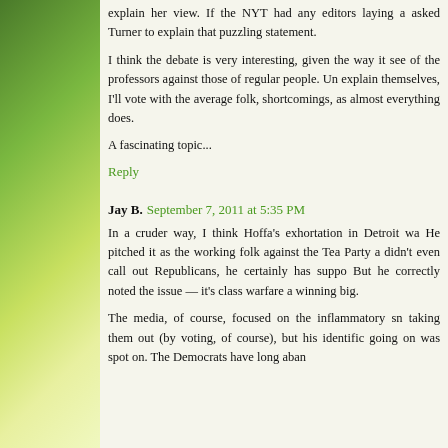explain her view. If the NYT had any editors laying a asked Turner to explain that puzzling statement.
I think the debate is very interesting, given the way it see of the professors against those of regular people. Un explain themselves, I'll vote with the average folk, shortcomings, as almost everything does.
A fascinating topic...
Reply
Jay B. September 7, 2011 at 5:35 PM
In a cruder way, I think Hoffa's exhortation in Detroit wa He pitched it as the working folk against the Tea Party a didn't even call out Republicans, he certainly has suppo But he correctly noted the issue — it's class warfare a winning big.
The media, of course, focused on the inflammatory sn taking them out (by voting, of course), but his identific going on was spot on. The Democrats have long aban